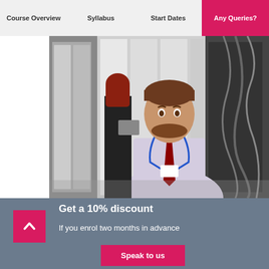Course Overview | Syllabus | Start Dates | Any Queries?
[Figure (photo): A smiling bearded man in a white shirt and dark red tie with a blue lanyard stands in a server room data center. In the background, a woman with red hair in a black outfit is working at a server rack. The room is filled with server racks.]
Get a 10% discount
If you enrol two months in advance
Speak to us